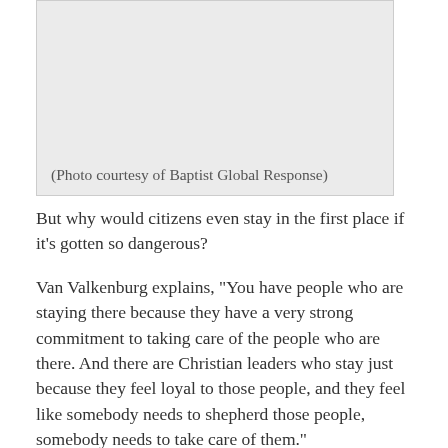[Figure (photo): Gray placeholder image box with caption: (Photo courtesy of Baptist Global Response)]
(Photo courtesy of Baptist Global Response)
But why would citizens even stay in the first place if it’s gotten so dangerous?
Van Valkenburg explains, “You have people who are staying there because they have a very strong commitment to taking care of the people who are there. And there are Christian leaders who stay just because they feel loyal to those people, and they feel like somebody needs to shepherd those people, somebody needs to take care of them.”
Generosity and charitable giving have waxed and waned for organizations sending aid to Syria.